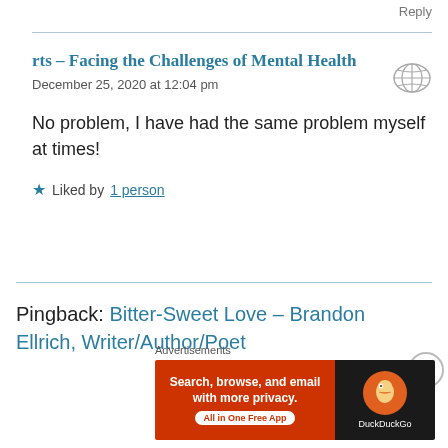Reply
rts – Facing the Challenges of Mental Health
December 25, 2020 at 12:04 pm
No problem, I have had the same problem myself at times!
★ Liked by 1 person
Pingback: Bitter-Sweet Love – Brandon Ellrich, Writer/Author/Poet
[Figure (screenshot): DuckDuckGo advertisement banner: Search, browse, and email with more privacy. All in One Free App.]